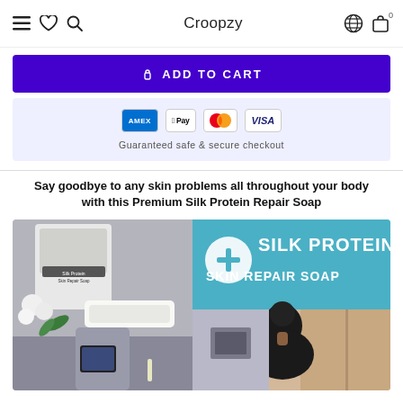Croopzy
ADD TO CART
[Figure (infographic): Payment method icons: Amex, Apple Pay, Mastercard, Visa. Text: Guaranteed safe & secure checkout]
Say goodbye to any skin problems all throughout your body with this Premium Silk Protein Repair Soap
[Figure (photo): Silk Protein Skin Repair Soap product image with teal branding text and woman in shower background]